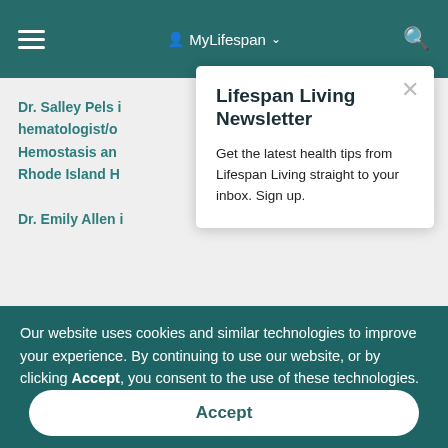MyLifespan
Dr. Salley Pels is a hematologist/o... Hemostasis an... Rhode Island H...
Dr. Emily Allen i...
Lifespan Living Newsletter
Get the latest health tips from Lifespan Living straight to your inbox. Sign up.
Our website uses cookies and similar technologies to improve your experience. By continuing to use our website, or by clicking Accept, you consent to the use of these technologies.
Accept